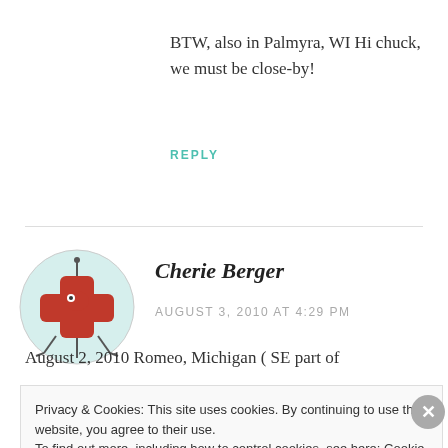BTW, also in Palmyra, WI Hi chuck, we must be close-by!
REPLY
Cherie Berger
AUGUST 3, 2010 AT 4:29 PM
August 2, 2010 Romeo, Michigan ( SE part of
Privacy & Cookies: This site uses cookies. By continuing to use this website, you agree to their use.
To find out more, including how to control cookies, see here: Cookie Policy
Close and accept